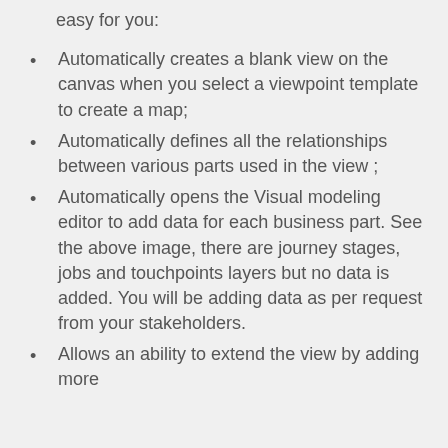easy for you:
Automatically creates a blank view on the canvas when you select a viewpoint template to create a map;
Automatically defines all the relationships between various parts used in the view ;
Automatically opens the Visual modeling editor to add data for each business part. See the above image, there are journey stages, jobs and touchpoints layers but no data is added. You will be adding data as per request from your stakeholders.
Allows an ability to extend the view by adding more